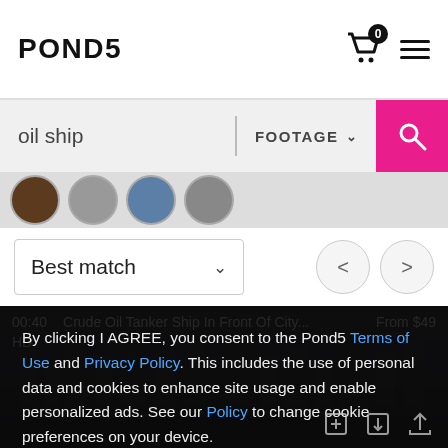POND5
oil ship | FOOTAGE
Best match
00:40  Crude Oil Tanker Ship In Front Of City...  From $49
HD
By clicking I AGREE, you consent to the Pond5 Terms of Use and Privacy Policy. This includes the use of personal data and cookies to enhance site usage and enable personalized ads. See our Policy to change cookie preferences on your device.
I AGREE